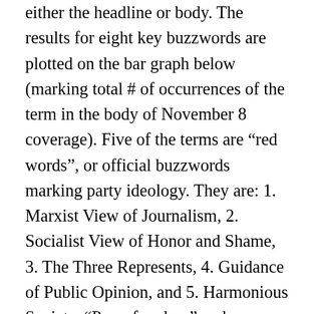either the headline or body. The results for eight key buzzwords are plotted on the bar graph below (marking total # of occurrences of the term in the body of November 8 coverage). Five of the terms are “red words”, or official buzzwords marking party ideology. They are: 1. Marxist View of Journalism, 2. Socialist View of Honor and Shame, 3. The Three Represents, 4. Guidance of Public Opinion, and 5. Harmonious Society. “Press freedom” and “professionalism” are what we call “blue words”, or terms denoting press roles at odds with official party ideology. The last term, “supervision by public opinion” is more